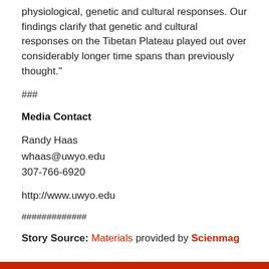physiological, genetic and cultural responses. Our findings clarify that genetic and cultural responses on the Tibetan Plateau played out over considerably longer time spans than previously thought."
###
Media Contact
Randy Haas
whaas@uwyo.edu
307-766-6920
http://www.uwyo.edu
#############
Story Source: Materials provided by Scienmag